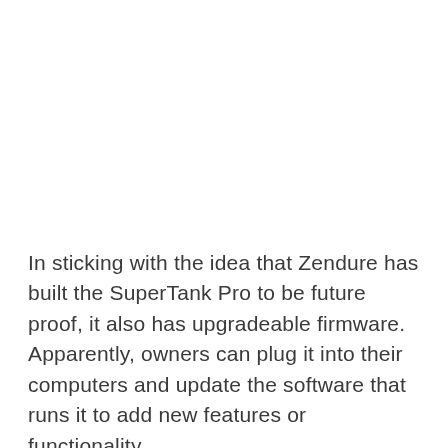In sticking with the idea that Zendure has built the SuperTank Pro to be future proof, it also has upgradeable firmware. Apparently, owners can plug it into their computers and update the software that runs it to add new features or functionality.